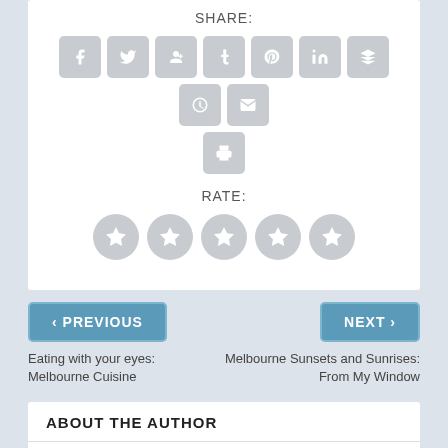SHARE:
[Figure (infographic): Row of 9 social share icon buttons (Facebook, Twitter, Google+, Tumblr, Pinterest, LinkedIn, Buffer, StumbleUpon, Email) and one print/document button below, all grey rounded squares with white icons.]
RATE:
[Figure (infographic): Five grey circle star rating buttons in a row.]
< PREVIOUS
NEXT >
Eating with your eyes: Melbourne Cuisine
Melbourne Sunsets and Sunrises: From My Window
ABOUT THE AUTHOR
Contributor